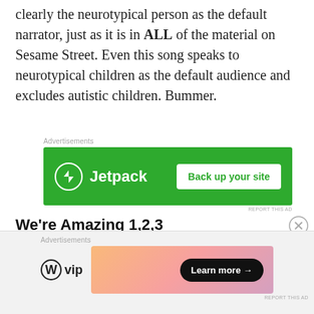clearly the neurotypical person as the default narrator, just as it is in ALL of the material on Sesame Street. Even this song speaks to neurotypical children as the default audience and excludes autistic children. Bummer.
[Figure (other): Jetpack advertisement banner with green background showing Jetpack logo and 'Back up your site' button]
We're Amazing 1,2,3
This digital storybook is the only place where Julia the autistic muppet appears, as a cartoon drawing. And yet the book is told entirely from Elmo's point...
[Figure (other): WordPress VIP advertisement banner with gradient background and 'Learn more' button]